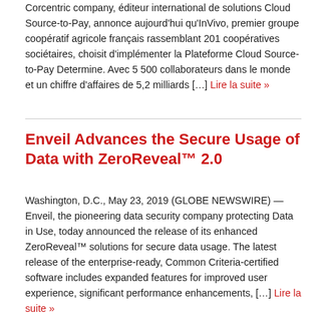Corcentric company, éditeur international de solutions Cloud Source-to-Pay, annonce aujourd'hui qu'InVivo, premier groupe coopératif agricole français rassemblant 201 coopératives sociétaires, choisit d'implémenter la Plateforme Cloud Source-to-Pay Determine. Avec 5 500 collaborateurs dans le monde et un chiffre d'affaires de 5,2 milliards […] Lire la suite »
Enveil Advances the Secure Usage of Data with ZeroReveal™ 2.0
Washington, D.C., May 23, 2019 (GLOBE NEWSWIRE) — Enveil, the pioneering data security company protecting Data in Use, today announced the release of its enhanced ZeroReveal™ solutions for secure data usage. The latest release of the enterprise-ready, Common Criteria-certified software includes expanded features for improved user experience, significant performance enhancements, […] Lire la suite »